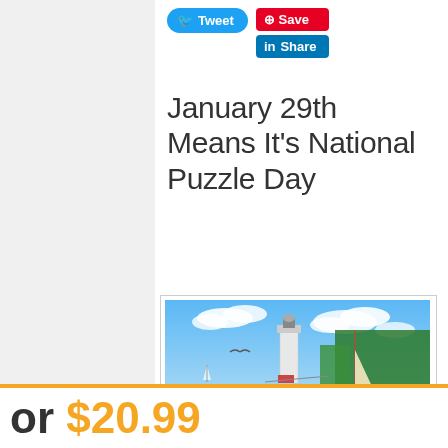[Figure (other): Social media share buttons: Tweet (Twitter/blue), Save (Pinterest/red), Share (LinkedIn/blue)]
January 29th Means It's National Puzzle Day
[Figure (photo): A scenic coastal painting showing a lighthouse, sandy beach with two white Adirondack chairs, a wooden sailboat on the shore, colorful flowers, green trees, blue ocean waves, and a blue sky with clouds — a jigsaw puzzle image.]
or $20.99